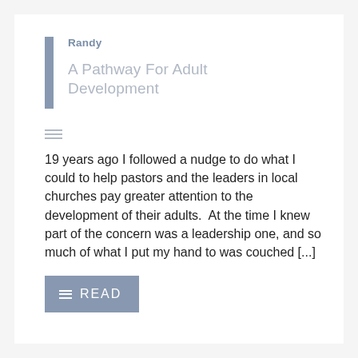Randy
A Pathway For Adult Development
19 years ago I followed a nudge to do what I could to help pastors and the leaders in local churches pay greater attention to the development of their adults.  At the time I knew part of the concern was a leadership one, and so much of what I put my hand to was couched [...]
READ